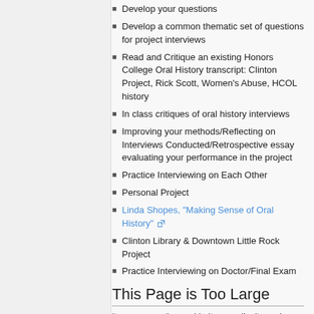Develop your questions
Develop a common thematic set of questions for project interviews
Read and Critique an existing Honors College Oral History transcript: Clinton Project, Rick Scott, Women's Abuse, HCOL history
In class critiques of oral history interviews
Improving your methods/Reflecting on Interviews Conducted/Retrospective essay evaluating your performance in the project
Practice Interviewing on Each Other
Personal Project
Linda Shopes, "Making Sense of Oral History" [external link]
Clinton Library & Downtown Little Rock Project
Practice Interviewing on Doctor/Final Exam
This Page is Too Large
It oppresses the soul in its grandiosity and impossible breadth.